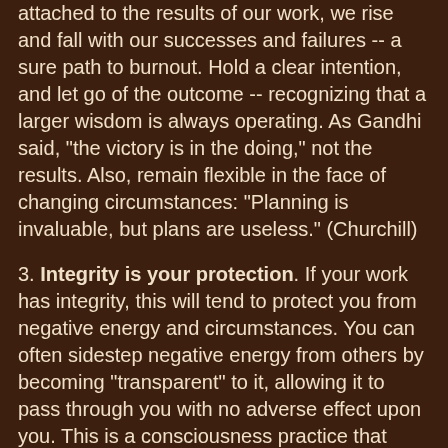attached to the results of our work, we rise and fall with our successes and failures -- a sure path to burnout. Hold a clear intention, and let go of the outcome -- recognizing that a larger wisdom is always operating. As Gandhi said, "the victory is in the doing," not the results. Also, remain flexible in the face of changing circumstances: "Planning is invaluable, but plans are useless." (Churchill)
3. Integrity is your protection. If your work has integrity, this will tend to protect you from negative energy and circumstances. You can often sidestep negative energy from others by becoming "transparent" to it, allowing it to pass through you with no adverse effect upon you. This is a consciousness practice that might be called "psychic aikido."
4. Integrity in means and ends. Integrity in means cultivates integrity in the fruit of one's work. A noble goal cannot be achieved utilizing